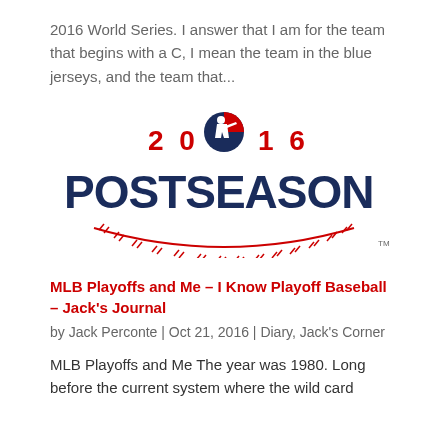2016 World Series. I answer that I am for the team that begins with a C, I mean the team in the blue jerseys, and the team that...
[Figure (logo): MLB 2016 Postseason logo with navy blue 'POSTSEASON' text, red '2016' numerals, the MLB batter silhouette logo, and red baseball stitching arc below]
MLB Playoffs and Me – I Know Playoff Baseball – Jack's Journal
by Jack Perconte | Oct 21, 2016 | Diary, Jack's Corner
MLB Playoffs and Me The year was 1980. Long before the current system where the wild card